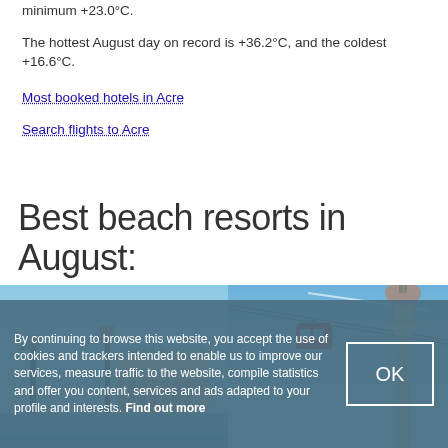minimum +23.0°C.
The hottest August day on record is +36.2°C, and the coldest +16.6°C.
Most booked hotels in Acre
Search flights to Acre
Best beach resorts in August:
[Figure (photo): Photo of Venice skyline with iconic columns and ornate buildings against a blue sky]
[Figure (photo): Photo of a red cable car gondola with a communications tower against a blue sky]
By continuing to browse this website, you accept the use of cookies and trackers intended to enable us to improve our services, measure traffic to the website, compile statistics and offer you content, services and ads adapted to your profile and interests. Find out more